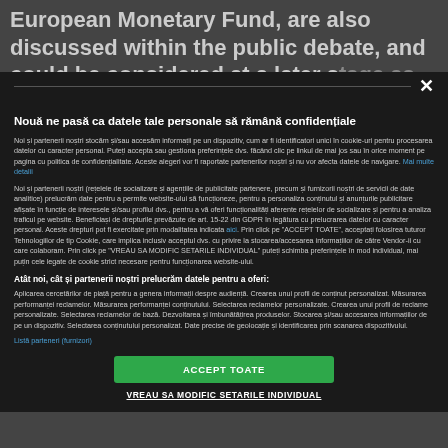European Monetary Fund, are also discussed within the public debate, and could be considered at a later stage as tools of deepening the economic and mone
Nouă ne pasă ca datele tale personale să rămână confidențiale
Noi și partenerii noștri stocăm și/sau accesăm informații pe un dispozitiv, cum ar fi identificatori unici în cookie-uri pentru procesarea datelor cu caracter personal. Puteți accepta sau gestiona preferințele dvs. făcând clic pe linkul de mai jos sau în orice moment pe pagina cu politica de confidențialitate. Aceste alegeri vor fi raportate partenerilor noștri și nu vor afecta datele de navigare. Mai multe detalii
Noi și partenerii noștri (rețelele de socializare și agențiile de publicitate partenere, precum și furnizorii noștri de servicii de date analitice) prelucrăm date pentru a permite website-ului să funcționeze, pentru a personaliza conținutul și anunțurile publicitare afișate în funcție de interesele și/sau profilul dvs., pentru a vă oferi funcționalități aferente rețelelor de socializare și pentru a analiza traficul pe website. Beneficiași de drepturile prevăzute de art. 15-22 din GDPR în legătura cu prelucrarea datelor cu caracter personal. Aceste drepturi pot fi exercitate prin modalitatea indicata aici. Prin click pe "ACCEPT TOATE", acceptați folosirea tuturor Tehnologiilor de tip Cookie, care implica inclusiv acceptul dvs. cu privire la stocarea/accesarea informațiilor de către Vendor-ii cu care colaboram. Prin click pe "VREAU SA MODIFIC SETARILE INDIVIDUAL" puteți schimba preferințele în mod individual, mai puțin cele legate de cookie strict necesare pentru funcționarea website-ului.
Atât noi, cât și partenerii noștri prelucrăm datele pentru a oferi:
Aplicarea cercetărilor de piață pentru a genera informații despre audiență. Crearea unui profil de conținut personalizat. Măsurarea performanței reclamelor. Măsurarea performanței conținutului. Selectarea reclamelor personalizate. Crearea unui profil de reclame personalizate. Selectarea reclamelor de bază. Dezvoltarea și îmbunătățirea produselor. Stocarea și/sau accesarea informațiilor de pe un dispozitiv. Selectarea conținutului personalizat. Date precise de geolocație și identificarea prin scanarea dispozitivului.
Listă parteneri (furnizori)
ACCEPT TOATE
VREAU SA MODIFIC SETARILE INDIVIDUAL